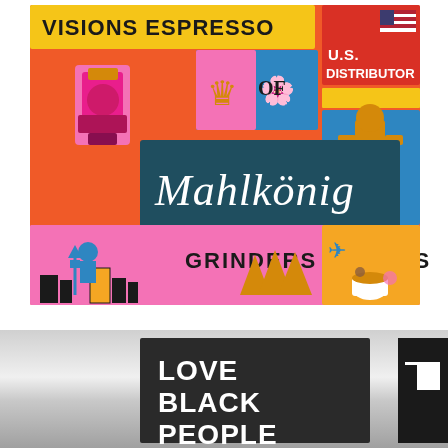[Figure (illustration): Colorful retro collage-style illustration. Text reads 'VISIONS ESPRESSO' in bold black on yellow background, 'U.S. DISTRIBUTOR' in white on red with American flag, 'OF' in black text, 'Mahlkönig' in white script on dark teal background, 'GRINDERS + PARTS' in black text on pink background. Various illustrated elements: pink espresso grinder on orange, crown and bird on blue/pink, gold grinder/trophy on blue, Seattle skyline with Space Needle and figure on pink, trees on pink, airplane and coffee cup on yellow/orange.]
[Figure (illustration): Bottom portion of a graphic design piece. Silver/grey metallic background on left. Dark charcoal/black rectangle in center with bold white text reading 'LOVE BLACK PEOPLE' in large block letters. Partial black geometric logo/mark visible on right edge.]